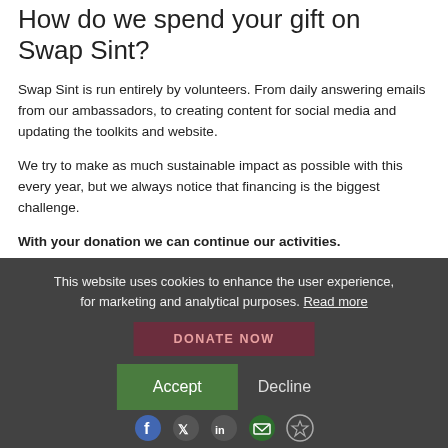How do we spend your gift on Swap Sint?
Swap Sint is run entirely by volunteers. From daily answering emails from our ambassadors, to creating content for social media and updating the toolkits and website.
We try to make as much sustainable impact as possible with this every year, but we always notice that financing is the biggest challenge.
With your donation we can continue our activities.
This website uses cookies to enhance the user experience, for marketing and analytical purposes. Read more
DONATE NOW
Accept   Decline